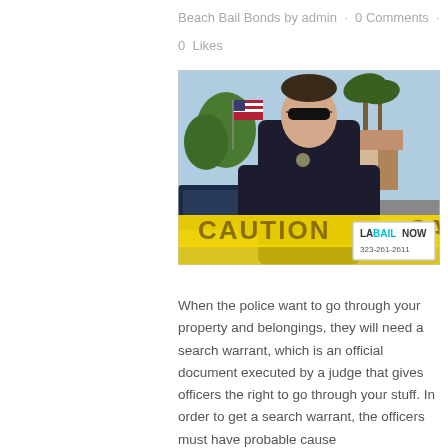Beach Bail Bonds by admin · 0 Comments · 0 Likes
[Figure (photo): A police officer in uniform with sunglasses standing in front of yellow caution tape outdoors with an American flag and trees in the background. A watermark reads 'LA BAILNOW 323-261-2611'.]
When the police want to go through your property and belongings, they will need a search warrant, which is an official document executed by a judge that gives officers the right to go through your stuff. In order to get a search warrant, the officers must have probable cause